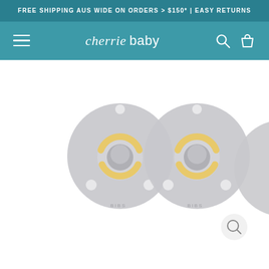FREE SHIPPING AUS WIDE ON ORDERS > $150* | EASY RETURNS
[Figure (logo): cherrie baby logo in white text on teal navigation bar with hamburger menu, search icon, and shopping bag icon]
[Figure (photo): Two light grey BIBS baby pacifiers/dummies side by side on white background, with yellow/cream latex nipple detail, partially cropped third pacifier on right edge]